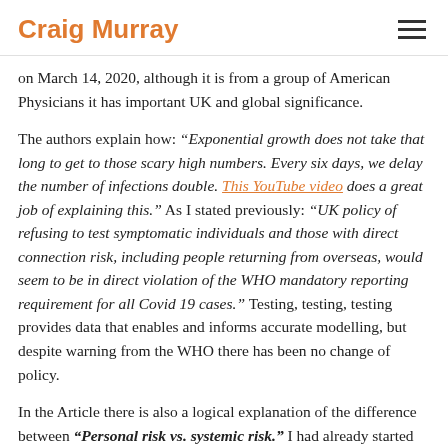Craig Murray
on March 14, 2020, although it is from a group of American Physicians it has important UK and global significance.
The authors explain how: “Exponential growth does not take that long to get to those scary high numbers. Every six days, we delay the number of infections double. This YouTube video does a great job of explaining this.” As I stated previously: “UK policy of refusing to test symptomatic individuals and those with direct connection risk, including people returning from overseas, would seem to be in direct violation of the WHO mandatory reporting requirement for all Covid 19 cases.” Testing, testing, testing provides data that enables and informs accurate modelling, but despite warning from the WHO there has been no change of policy.
In the Article there is also a logical explanation of the difference between “Personal risk vs. systemic risk.” I had already started into the Social distancing measures from the beginning of March, this initiallyhardt to resist element article and